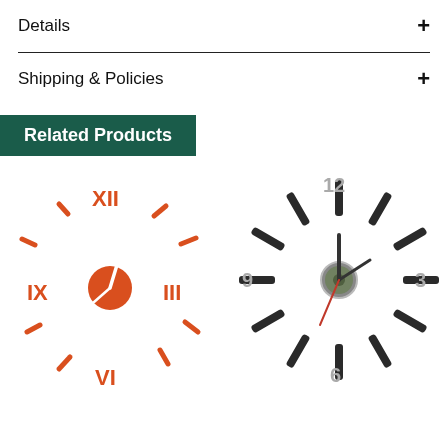Details +
Shipping & Policies +
Related Products
[Figure (photo): Orange Roman numeral wall clock with decorative tick marks and small orange center disc]
[Figure (photo): Modern silver/chrome wall clock with black stick tick marks and metallic numeral digits (12, 3, 6, 9) with red second hand]